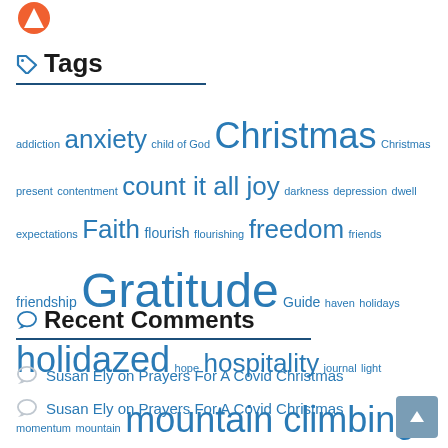[Figure (logo): Small circular logo icon at top left]
Tags
addiction anxiety child of God Christmas Christmas present contentment count it all joy darkness depression dwell expectations Faith flourish flourishing freedom friends friendship Gratitude Guide haven holidays holidazed hope hospitality journal light momentum mountain mountain climbing mountains praise prayer recover refresh renew rest restore seek the Lord speak truth Summer surrender transformation trust walk in the light worship
Recent Comments
Susan Ely on Prayers For A Covid Christmas
Susan Ely on Prayers For A Covid Christmas